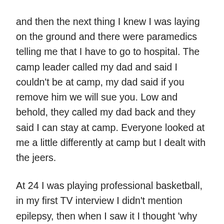and then the next thing I knew I was laying on the ground and there were paramedics telling me that I have to go to hospital. The camp leader called my dad and said I couldn't be at camp, my dad said if you remove him we will sue you. Low and behold, they called my dad back and they said I can stay at camp. Everyone looked at me a little differently at camp but I dealt with the jeers.
At 24 I was playing professional basketball, in my first TV interview I didn't mention epilepsy, then when I saw it I thought 'why didn't I mention my epilepsy?' I'm someone they can look up to, and people can use me as someone to relate to. If I can help just one person, then that's good.